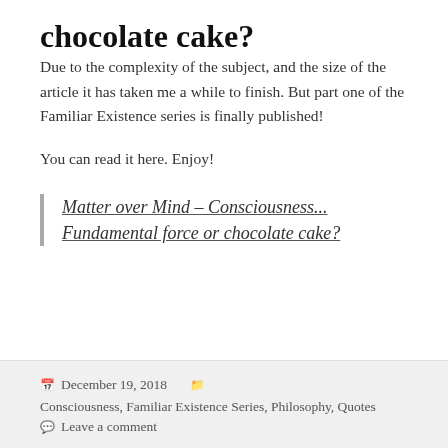chocolate cake?
Due to the complexity of the subject, and the size of the article it has taken me a while to finish. But part one of the Familiar Existence series is finally published!
You can read it here. Enjoy!
Matter over Mind – Consciousness... Fundamental force or chocolate cake?
December 19, 2018  Consciousness, Familiar Existence Series, Philosophy, Quotes  Leave a comment